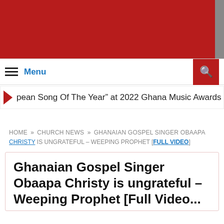Menu
pean Song Of The Year” at 2022 Ghana Music Awards UK
HOME » CHURCH NEWS » GHANAIAN GOSPEL SINGER OBAAPA CHRISTY IS UNGRATEFUL – WEEPING PROPHET [FULL VIDEO]
Ghanaian Gospel Singer Obaapa Christy is ungrateful – Weeping Prophet [Full Video...